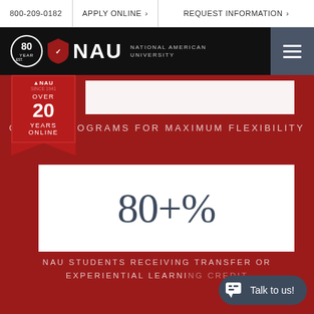800-209-0182   APPLY ONLINE >   REQUEST INFORMATION >
[Figure (logo): National American University logo with 80 Years badge and NAU shield logo on black bar with hamburger menu]
[Figure (infographic): Partially visible white stat box at top of red section]
ONLINE PROGRAMS FOR MAXIMUM FLEXIBILITY
[Figure (infographic): White box with large text '80+%' in dark slate color on red background]
NAU STUDENTS RECEIVING TRANSFER OR EXPERIENTIAL LEARNI...
[Figure (infographic): Chat button widget - Talk to us!]